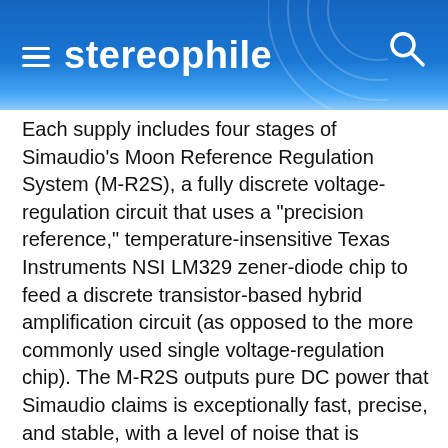stereophile
Each supply includes four stages of Simaudio's Moon Reference Regulation System (M-R2S), a fully discrete voltage-regulation circuit that uses a "precision reference," temperature-insensitive Texas Instruments NSI LM329 zener-diode chip to feed a discrete transistor-based hybrid amplification circuit (as opposed to the more commonly used single voltage-regulation chip). The M-R2S outputs pure DC power that Simaudio claims is exceptionally fast, precise, and stable, with a level of noise that is "virtually unmeasurable."
The 820S uses four-layer printed circuit boards with pure copper traces with extremely low impedance characteristics and short, low-noise signal paths, as